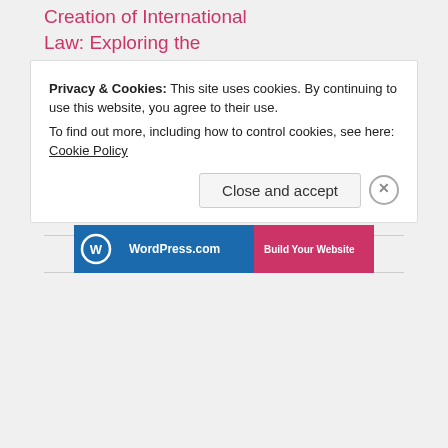Creation of International Law: Exploring the International Law Components of Peace
March 20, 2013
In "Go On!"
IntLawGrrls
Privacy & Cookies: This site uses cookies. By continuing to use this website, you agree to their use. To find out more, including how to control cookies, see here: Cookie Policy